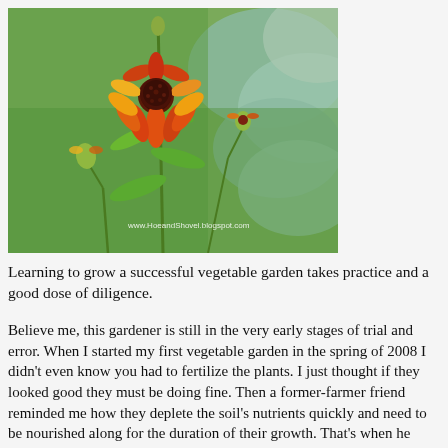[Figure (photo): A garden photograph showing a blooming red and orange coneflower (Gaillardia / blanket flower) with a dark center, surrounded by green stems, leaves, and buds. Background shows leafy green plants. Watermark text reads: www.HoeandShovel.blogspot.com]
Learning to grow a successful vegetable garden takes practice and a good dose of diligence.
Believe me, this gardener is still in the very early stages of trial and error. When I started my first vegetable garden in the spring of 2008 I didn't even know you had to fertilize the plants. I just thought if they looked good they must be doing fine. Then a former-farmer friend reminded me how they deplete the soil's nutrients quickly and need to be nourished along for the duration of their growth. That's when he handed me some Miracle-gro and proclaimed its worthiness for supplying essential trace elements.